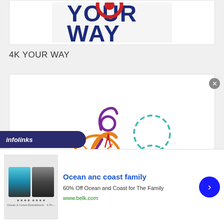[Figure (screenshot): Partial screenshot showing top of '4K YOUR WAY' graphic with dark navy text on light background]
4K YOUR WAY
[Figure (logo): Ride for AIDS logo: stylized cyclist figure in orange, purple ribbon-person, teal figure-8 dashed circle. Text reads 'RIDE FOR AIDS' and 'ride for a reason']
[Figure (screenshot): Infolinks ad banner: Ocean anc coast family, 60% Off Ocean and Coast for The Family, www.belk.com, showing swimwear product images]